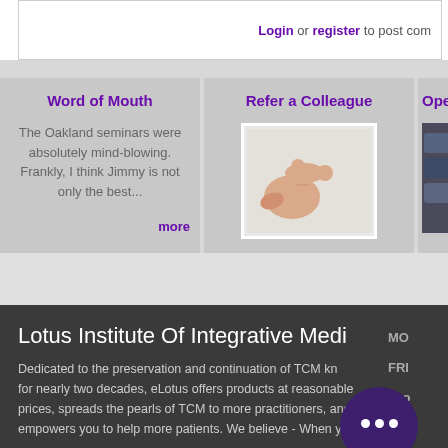Login or register to post com
Word of Mouth
The Oakland seminars were absolutely mind-blowing. Frankly, I think Jimmy is not only the best...
more
Refer a Colleague
[Figure (photo): A hand with index finger pointing right]
Open
Lotus Institute Of Integrative Medicine
Dedicated to the preservation and continuation of TCM knowledge for nearly two decades, eLotus offers products at reasonable prices, spreads the pearls of TCM to more practitioners, and empowers you to help more patients. We believe - When you
MO
FRI
Bro
Ann